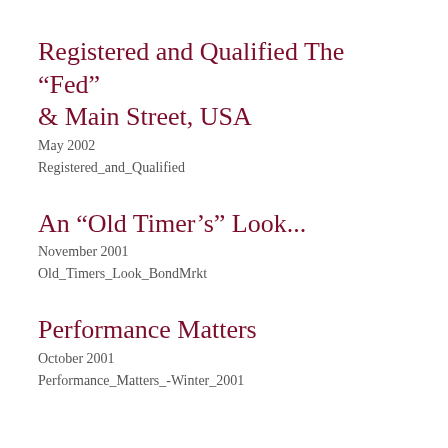Registered and Qualified The “Fed” & Main Street, USA
May 2002
Registered_and_Qualified
An “Old Timer’s” Look...
November 2001
Old_Timers_Look_BondMrkt
Performance Matters
October 2001
Performance_Matters_-Winter_2001